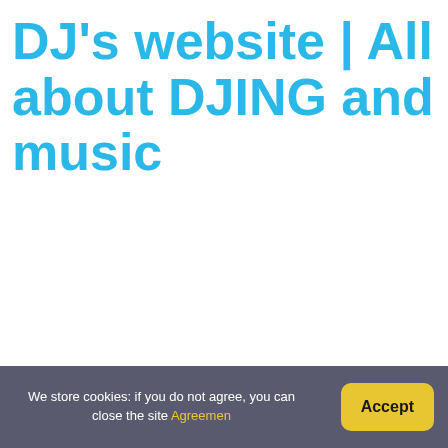DJ's website | All about DJING and music
What do DJs do live?
The DJs main aim is to engage and entertain their audience, they read the mood of the crowd. They also account for the situation (is it a f...
How long do DJ sets last?
A DJ set is a given time period in which a DJ selects a pa... Usually DJs pick one genre of music but some DJs play m... but are known to last up to 6 hours long.
We store cookies: if you do not agree, you can close the site Agreemen